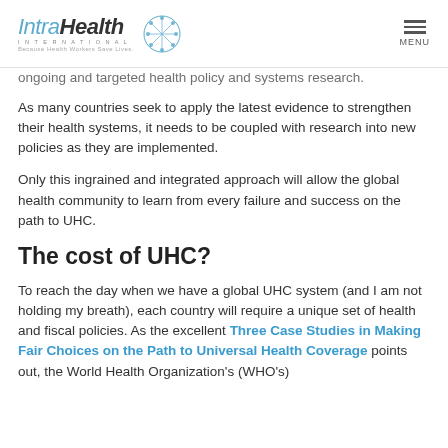IntraHealth International | Because Health Workers Save Lives | MENU
ongoing and targeted health policy and systems research.
As many countries seek to apply the latest evidence to strengthen their health systems, it needs to be coupled with research into new policies as they are implemented.
Only this ingrained and integrated approach will allow the global health community to learn from every failure and success on the path to UHC.
The cost of UHC?
To reach the day when we have a global UHC system (and I am not holding my breath), each country will require a unique set of health and fiscal policies. As the excellent Three Case Studies in Making Fair Choices on the Path to Universal Health Coverage points out, the World Health Organization's (WHO's)